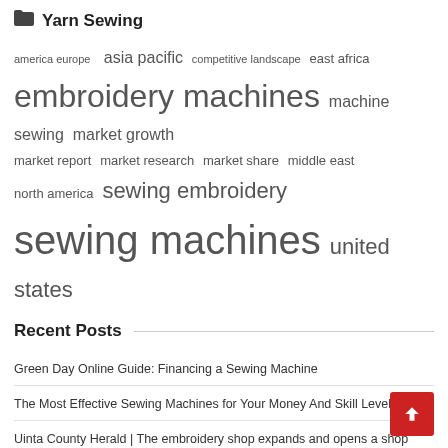Yarn Sewing
america europe  asia pacific  competitive landscape  east africa  embroidery machines  machine sewing  market growth  market report  market research  market share  middle east  north america  sewing embroidery  sewing machines  united states
Recent Posts
Green Day Online Guide: Financing a Sewing Machine
The Most Effective Sewing Machines for Your Money And Skill Level
Uinta County Herald | The embroidery shop expands and opens a shop Front Street